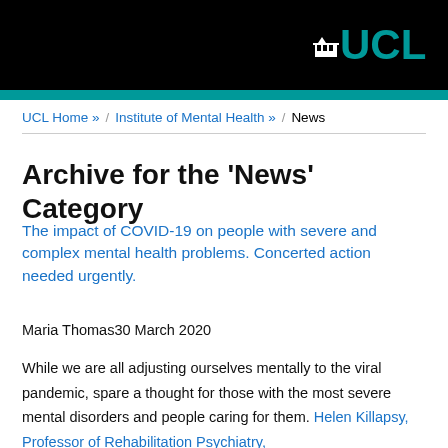UCL
UCL Home » / Institute of Mental Health » / News
Archive for the 'News' Category
The impact of COVID-19 on people with severe and complex mental health problems. Concerted action needed urgently.
Maria Thomas30 March 2020
While we are all adjusting ourselves mentally to the viral pandemic, spare a thought for those with the most severe mental disorders and people caring for them. Helen Killapsy, Professor of Rehabilitation Psychiatry,